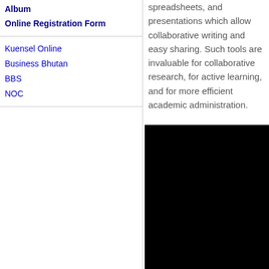Album
Online Registration Form
Kuensel Online
Business Bhutan
BBS
NOC
spreadsheets, and presentations which allow collaborative writing and easy sharing. Such tools are invaluable for collaborative research, for active learning, and for more efficient academic administration.
[Figure (photo): Black rectangular photo block]